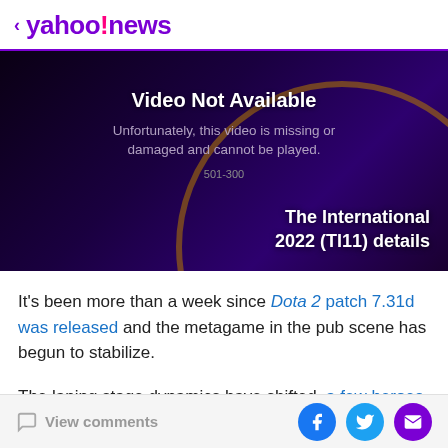< yahoo!news
[Figure (screenshot): Video Not Available banner on dark purple background with orange circle motif and The International 2022 (TI11) details text. Error message: Unfortunately, this video is missing or damaged and cannot be played. Error code: 501-300]
It's been more than a week since Dota 2 patch 7.31d was released and the metagame in the pub scene has begun to stabilize.
The laning stage dynamics have shifted, a few heroes have emerged as the biggest patch winners, and
View comments